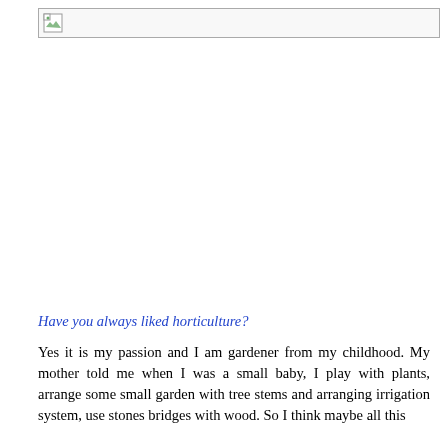[Figure (photo): Broken/missing image placeholder with small image icon in top-left corner]
Have you always liked horticulture?
Yes it is my passion and I am gardener from my childhood. My mother told me when I was a small baby, I play with plants, arrange some small garden with tree stems and arranging irrigation system, use stones bridges with wood. So I think maybe all this